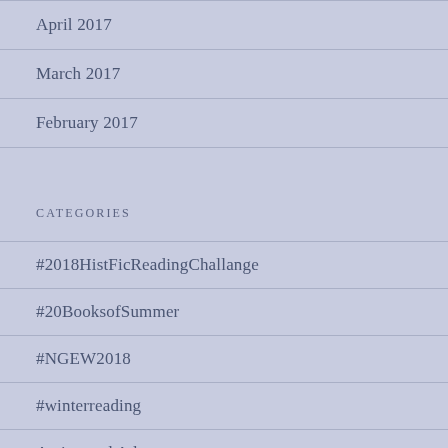April 2017
March 2017
February 2017
CATEGORIES
#2018HistFicReadingChallange
#20BooksofSummer
#NGEW2018
#winterreading
Action and Adventure